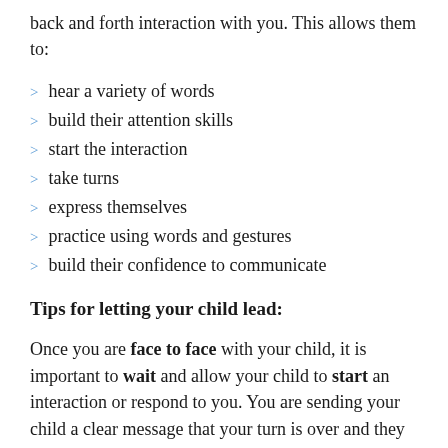back and forth interaction with you. This allows them to:
hear a variety of words
build their attention skills
start the interaction
take turns
express themselves
practice using words and gestures
build their confidence to communicate
Tips for letting your child lead:
Once you are face to face with your child, it is important to wait and allow your child to start an interaction or respond to you. You are sending your child a clear message that your turn is over and they are expected to take the next turn. Your child will learn they have control in communication too.